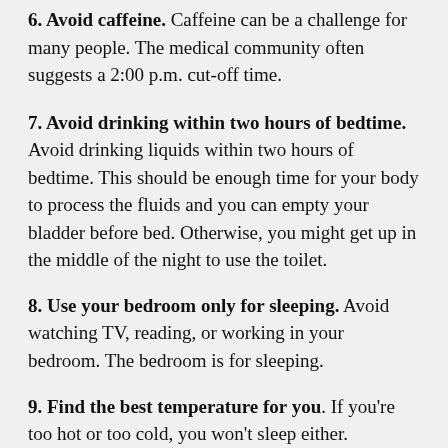6. Avoid caffeine. Caffeine can be a challenge for many people. The medical community often suggests a 2:00 p.m. cut-off time.
7. Avoid drinking within two hours of bedtime. Avoid drinking liquids within two hours of bedtime. This should be enough time for your body to process the fluids and you can empty your bladder before bed. Otherwise, you might get up in the middle of the night to use the toilet.
8. Use your bedroom only for sleeping. Avoid watching TV, reading, or working in your bedroom. The bedroom is for sleeping.
9. Find the best temperature for you. If you're too hot or too cold, you won't sleep either.
10. Change your mattress. Maybe you need a new